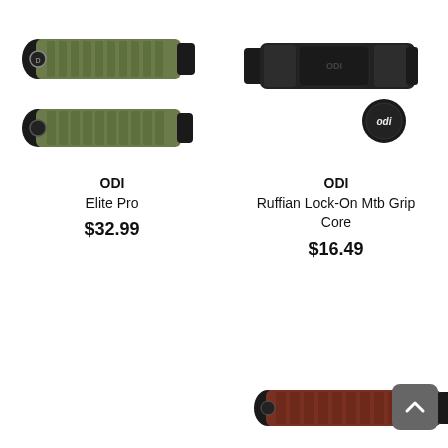[Figure (photo): ODI Elite Pro bicycle handlebar grips in olive/army green color with black collars, shown as two grips stacked]
ODI
Elite Pro
$32.99
[Figure (photo): ODI Ruffian Lock-On Mtb Grip Core in black color with ODI logo cap]
ODI
Ruffian Lock-On Mtb Grip Core
$16.49
[Figure (photo): Partial view of a brown/maroon bicycle grip in the bottom right corner]
[Figure (other): Gray scroll-to-top button with upward chevron arrow]